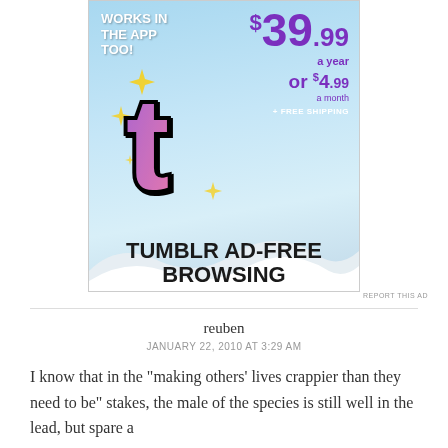[Figure (screenshot): Tumblr ad for Ad-Free Browsing: $39.99 a year or $4.99 a month + FREE SHIPPING, with Tumblr 't' logo and text 'WORKS IN THE APP TOO! TUMBLR AD-FREE BROWSING']
REPORT THIS AD
reuben
JANUARY 22, 2010 AT 3:29 AM
I know that in the "making others' lives crappier than they need to be" stakes, the male of the species is still well in the lead, but spare a